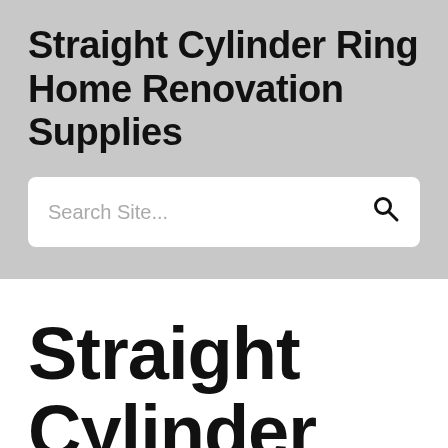Straight Cylinder Ring Home Renovation Supplies
Search Site...
Straight Cylinder